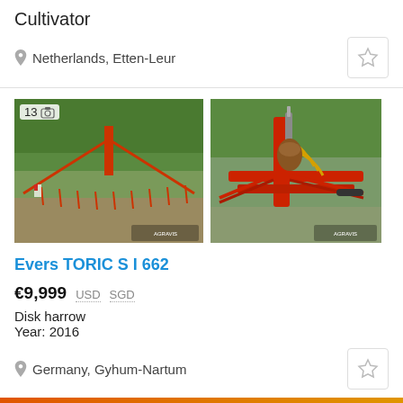Cultivator
Netherlands, Etten-Leur
[Figure (photo): Red cultivator agricultural implement shown from front in a field, 13 photos badge visible]
[Figure (photo): Close-up of red disk harrow hydraulic and mechanical components]
Evers TORIC S I 662
€9,999  USD  SGD
Disk harrow
Year: 2016
Germany, Gyhum-Nartum